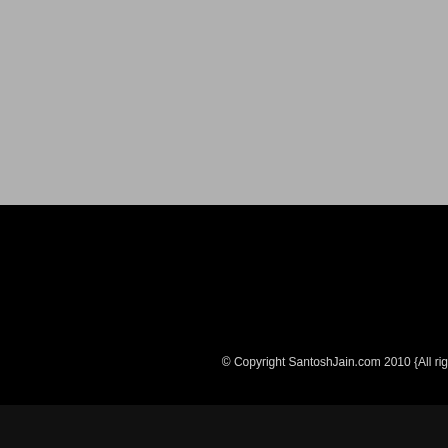[Figure (other): Gray background block filling top half of page]
[Figure (other): Black background block filling middle section of page]
© Copyright SantoshJain.com 2010 {All rig
[Figure (other): Broken image icon in bottom dark bar]